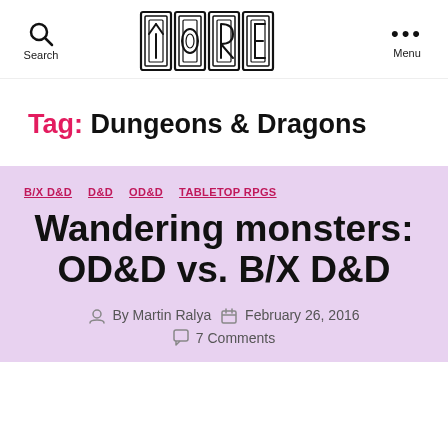Search | YORE | Menu
Tag: Dungeons & Dragons
B/X D&D  D&D  OD&D  TABLETOP RPGS
Wandering monsters: OD&D vs. B/X D&D
By Martin Ralya  February 26, 2016  7 Comments